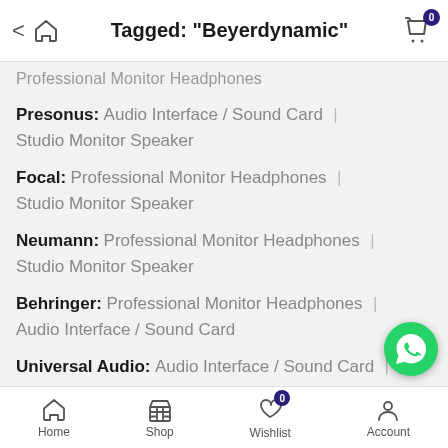Tagged: "Beyerdynamic"
Professional Monitor Headphones
Presonus: Audio Interface / Sound Card | Studio Monitor Speaker
Focal: Professional Monitor Headphones | Studio Monitor Speaker
Neumann: Professional Monitor Headphones | Studio Monitor Speaker
Behringer: Professional Monitor Headphones | Audio Interface / Sound Card
Universal Audio: Audio Interface / Sound Card | Mastering Gears / Pre - Amp
Home  Shop  Wishlist  Account